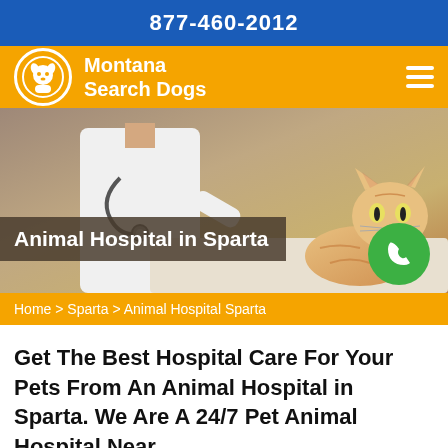877-460-2012
Montana Search Dogs
[Figure (photo): Hero image of a veterinarian in white coat with a stethoscope examining an orange/cream cat on a table. Semi-transparent dark overlay with the text 'Animal Hospital in Sparta' and a green phone call button.]
Home > Sparta > Animal Hospital Sparta
Get The Best Hospital Care For Your Pets From An Animal Hospital in Sparta. We Are A 24/7 Pet Animal Hospital Near